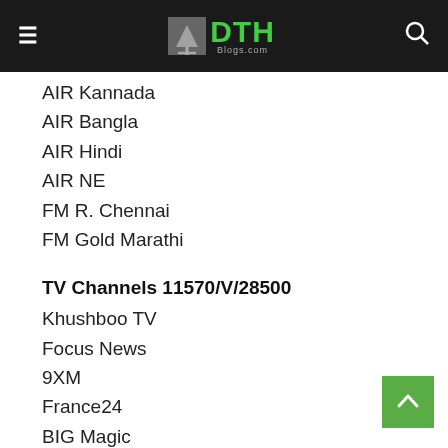DTH Blogs.com
AIR Kannada
AIR Bangla
AIR Hindi
AIR NE
FM R. Chennai
FM Gold Marathi
TV Channels 11570/V/28500
Khushboo TV
Focus News
9XM
France24
BIG Magic
STAR Utsav
ZEE Anmol
Mastii
B4U Music
Test 410
DW TV
Amar 24